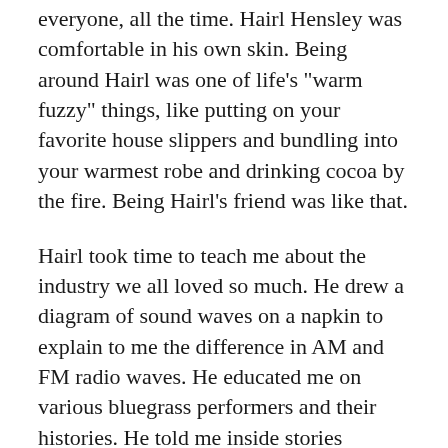everyone, all the time. Hairl Hensley was comfortable in his own skin. Being around Hairl was one of life’s “warm fuzzy” things, like putting on your favorite house slippers and bundling into your warmest robe and drinking cocoa by the fire. Being Hairl’s friend was like that.
Hairl took time to teach me about the industry we all loved so much. He drew a diagram of sound waves on a napkin to explain to me the difference in AM and FM radio waves. He educated me on various bluegrass performers and their histories. He told me inside stories (especially off-color ones) about Opry stars. One of the greatest gifts Hairl gave me, though, came a few months after I’d been working at WSM.
Kyle had told me early on that as a WSM